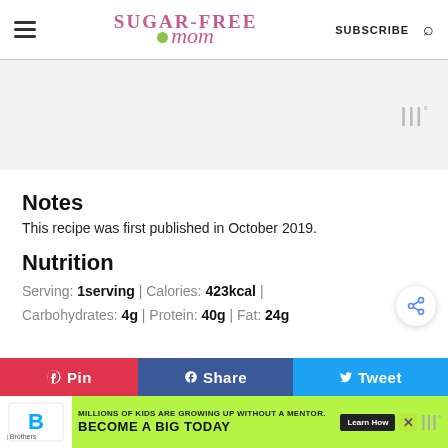Sugar-Free Mom | SUBSCRIBE
[Figure (other): Advertisement placeholder area with watermark logo]
Notes
This recipe was first published in October 2019.
Nutrition
Serving: 1serving | Calories: 423kcal | Carbohydrates: 4g | Protein: 40g | Fat: 24g
[Figure (other): Share button (circular with share icon)]
[Figure (other): Social sharing bar with Pin, Share, Tweet buttons]
[Figure (other): Big Brothers Big Sisters advertisement banner at bottom]